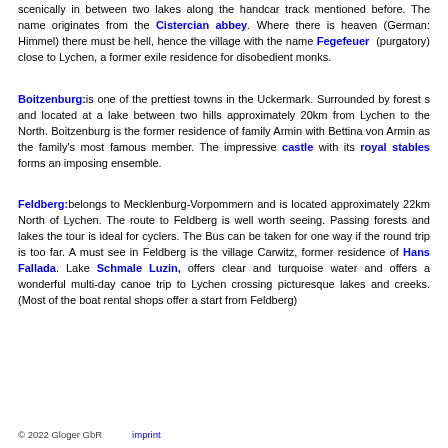scenically in between two lakes along the handcar track mentioned before. The name originates from the Cistercian abbey. Where there is heaven (German: Himmel) there must be hell, hence the village with the name Fegefeuer (purgatory) close to Lychen, a former exile residence for disobedient monks.
Boitzenburg: is one of the prettiest towns in the Uckermark. Surrounded by forest s and located at a lake between two hills approximately 20km from Lychen to the North. Boitzenburg is the former residence of family Armin with Bettina von Armin as the family's most famous member. The impressive castle with its royal stables forms an imposing ensemble.
Feldberg: belongs to Mecklenburg-Vorpommern and is located approximately 22km North of Lychen. The route to Feldberg is well worth seeing. Passing forests and lakes the tour is ideal for cyclers. The Bus can be taken for one way if the round trip is too far. A must see in Feldberg is the village Carwitz, former residence of Hans Fallada. Lake Schmale Luzin, offers clear and turquoise water and offers a wonderful multi-day canoe trip to Lychen crossing picturesque lakes and creeks. (Most of the boat rental shops offer a start from Feldberg)
© 2022 Gloger GbR    imprint